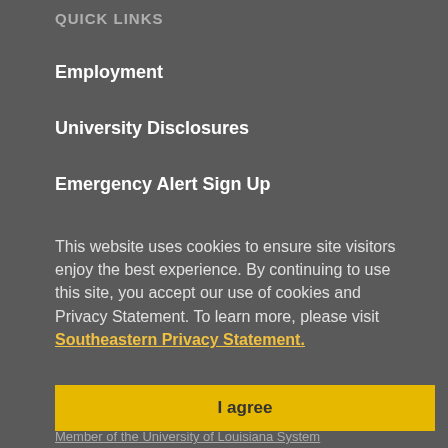QUICK LINKS
Employment
University Disclosures
Emergency Alert Sign Up
This website uses cookies to ensure site visitors enjoy the best experience. By continuing to use this site, you accept our use of cookies and Privacy Statement. To learn more, please visit Southeastern Privacy Statement.
I agree
Member of the University of Louisiana System